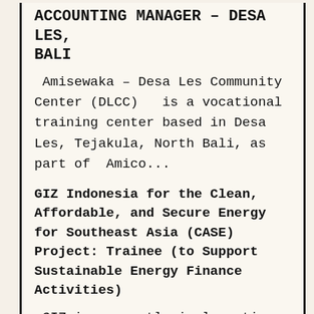ACCOUNTING MANAGER – DESA LES, BALI
Amisewaka – Desa Les Community Center (DLCC)   is a vocational training center based in Desa Les, Tejakula, North Bali, as part of  Amico...
GIZ Indonesia for the Clean, Affordable, and Secure Energy for Southeast Asia (CASE) Project: Trainee (to Support Sustainable Energy Finance Activities)
GIZ is currently implementing a program, funded by the International Climate Initiative (IKI) of the German